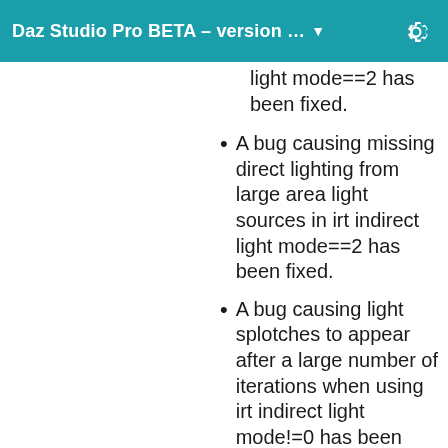Daz Studio Pro BETA – version … ▼
light mode==2 has been fixed.
A bug causing missing direct lighting from large area light sources in irt indirect light mode==2 has been fixed.
A bug causing light splotches to appear after a large number of iterations when using irt indirect light mode!=0 has been fixed.
A potential crash